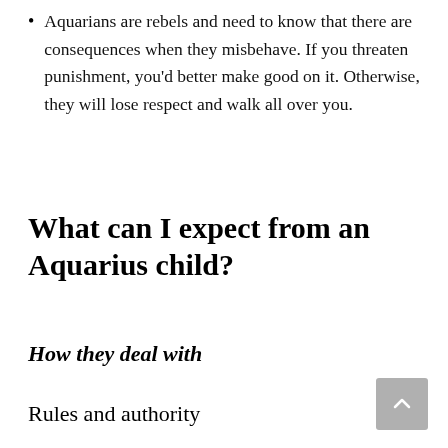Aquarians are rebels and need to know that there are consequences when they misbehave. If you threaten punishment, you'd better make good on it. Otherwise, they will lose respect and walk all over you.
What can I expect from an Aquarius child?
How they deal with
Rules and authority